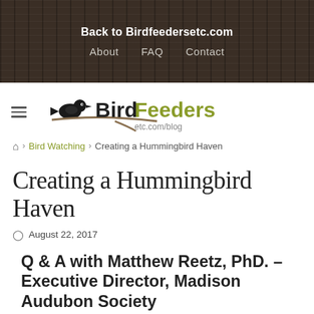Back to Birdfeedersetc.com
About   FAQ   Contact
[Figure (logo): BirdFeeders etc.com/blog logo with bird silhouette on branch]
⌂ > Bird Watching > Creating a Hummingbird Haven
Creating a Hummingbird Haven
August 22, 2017
Q & A with Matthew Reetz, PhD. – Executive Director, Madison Audubon Society